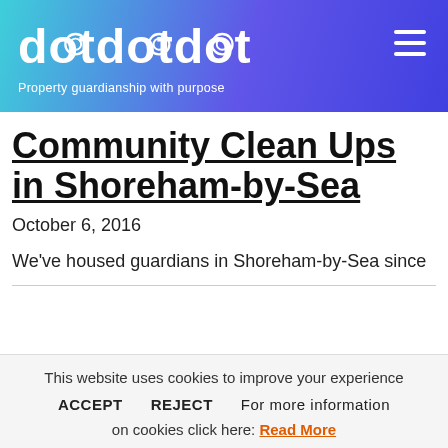dotdotdot — Property guardianship with purpose
Community Clean Ups in Shoreham-by-Sea
October 6, 2016
We've housed guardians in Shoreham-by-Sea since
This website uses cookies to improve your experience
ACCEPT   REJECT   For more information on cookies click here: Read More